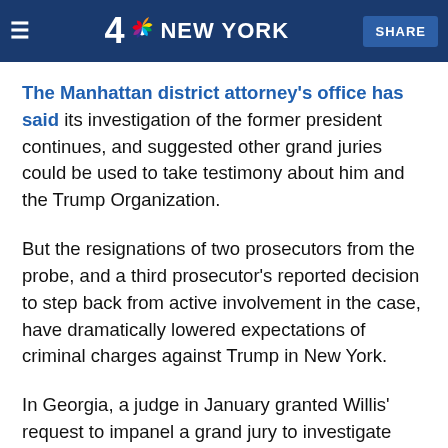NBC 4 NEW YORK | SHARE
The Manhattan district attorney's office has said its investigation of the former president continues, and suggested other grand juries could be used to take testimony about him and the Trump Organization.
But the resignations of two prosecutors from the probe, and a third prosecutor's reported decision to step back from active involvement in the case, have dramatically lowered expectations of criminal charges against Trump in New York.
In Georgia, a judge in January granted Willis' request to impanel a grand jury to investigate Trump after Willis said she "received information indicating a reasonable probability" that Georgia's 2020 election "was subject to possible criminal disruption"